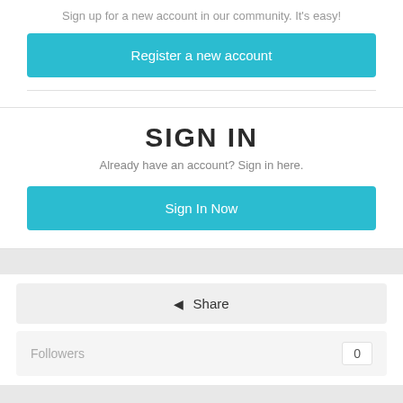Sign up for a new account in our community. It's easy!
Register a new account
SIGN IN
Already have an account? Sign in here.
Sign In Now
Share
Followers 0
Go to topic listing